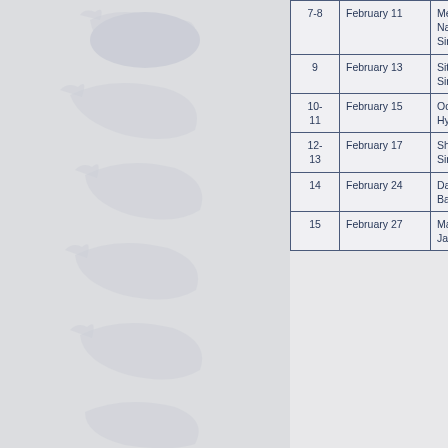| # | Date | Location | Description |
| --- | --- | --- | --- |
| 7-8 | February 11 | Mehrabpur / Naushahro Feroze / Sindh | Two blasts at Mehrabpur in District in Si... |
| 9 | February 13 | Sitharja / Khairpur / Sindh | A railway ... Railway Sta... Sindh was d... bomb blast. |
| 10-11 | February 15 | Oderolal and Palejani / Hyderabad / Sindh | Two bomb railway trac... Palejani railu... District o... movement o... |
| 12-13 | February 17 | Shah Latif / Karachi / Sindh | Twin explo... tracks pass... Town of Kara... |
| 14 | February 24 | Dalbandin / Chagai / Balochistan | Four bogie Cooperation freight train feet portion blown up Dalbandin Balochistan. |
| 15 | February 27 | Mangoli / Dera Murad Jamali / Naseerabad | Unidentified track in Man... Jamali town... Balochista... |